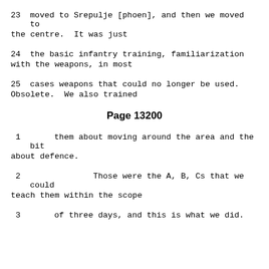23    moved to Srepulje [phoen], and then we moved to the centre.  It was just
24    the basic infantry training, familiarization with the weapons, in most
25    cases weapons that could no longer be used. Obsolete.  We also trained
Page 13200
1     them about moving around the area and the bit about defence.
2             Those were the A, B, Cs that we could teach them within the scope
3     of three days, and this is what we did.